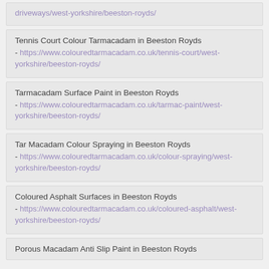driveways/west-yorkshire/beeston-royds/
Tennis Court Colour Tarmacadam in Beeston Royds - https://www.colouredtarmacadam.co.uk/tennis-court/west-yorkshire/beeston-royds/
Tarmacadam Surface Paint in Beeston Royds - https://www.colouredtarmacadam.co.uk/tarmac-paint/west-yorkshire/beeston-royds/
Tar Macadam Colour Spraying in Beeston Royds - https://www.colouredtarmacadam.co.uk/colour-spraying/west-yorkshire/beeston-royds/
Coloured Asphalt Surfaces in Beeston Royds - https://www.colouredtarmacadam.co.uk/coloured-asphalt/west-yorkshire/beeston-royds/
Porous Macadam Anti Slip Paint in Beeston Royds